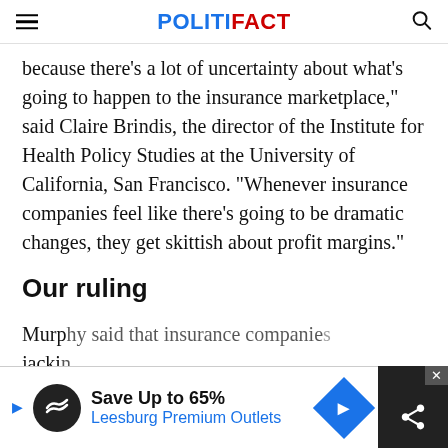POLITIFACT
because there’s a lot of uncertainty about what’s going to happen to the insurance marketplace," said Claire Brindis, the director of the Institute for Health Policy Studies at the University of California, San Francisco. "Whenever insurance companies feel like there's going to be dramatic changes, they get skittish about profit margins."
Our ruling
Murphy said that insurance companies are jacking...